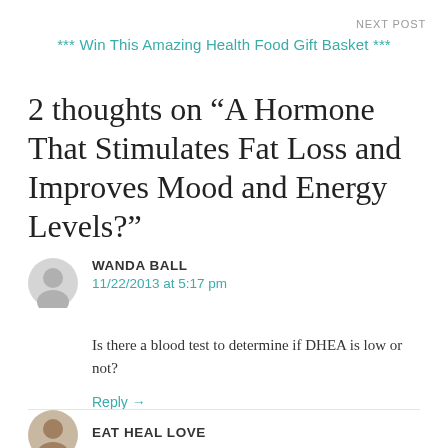NEXT POST
*** Win This Amazing Health Food Gift Basket ***
2 thoughts on “A Hormone That Stimulates Fat Loss and Improves Mood and Energy Levels?”
WANDA BALL
11/22/2013 at 5:17 pm
Is there a blood test to determine if DHEA is low or not?
Reply →
EAT HEAL LOVE